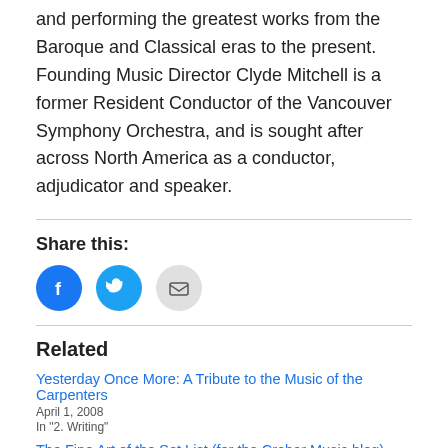and performing the greatest works from the Baroque and Classical eras to the present. Founding Music Director Clyde Mitchell is a former Resident Conductor of the Vancouver Symphony Orchestra, and is sought after across North America as a conductor, adjudicator and speaker.
Share this:
[Figure (infographic): Three circular social sharing icons: Facebook (blue, 'f' logo), Twitter (blue, bird logo), Email (grey, envelope icon)]
Related
Yesterday Once More: A Tribute to the Music of the Carpenters
April 1, 2008
In "2. Writing"
The Fine Art of the Set List (for the Creber Music blog)